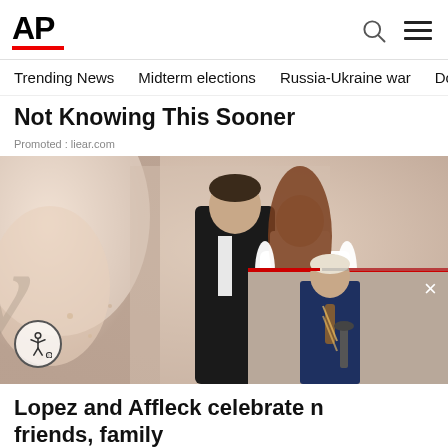AP
Trending News
Midterm elections
Russia-Ukraine war
Dona
Not Knowing This Sooner
Promoted : liear.com
[Figure (photo): Wedding photo showing a man in a black suit and a woman in a white short dress facing each other closely, with a bridal veil and text 'arry' visible in the background. A smaller video overlay in the bottom right shows a man in a suit at a podium.]
Lopez and Affleck celebrate
friends, family